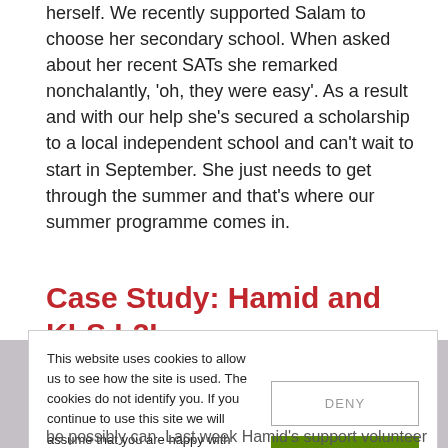herself. We recently supported Salam to choose her secondary school. When asked about her recent SATs she remarked nonchalantly, 'oh, they were easy'. As a result and with our help she's secured a scholarship to a local independent school and can't wait to start in September. She just needs to get through the summer and that's where our summer programme comes in.
Case Study: Hamid and KLS L2L Club...
This website uses cookies to allow us to see how the site is used. The cookies do not identify you. If you continue to use this site we will assume that you are happy with this. If you want to use this website without cookies or would like to know more, you can do that here.
be possibly can. Last week Hamid's support volunteer